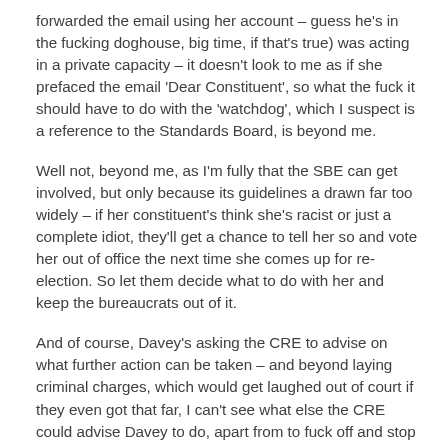forwarded the email using her account – guess he's in the fucking doghouse, big time, if that's true) was acting in a private capacity – it doesn't look to me as if she prefaced the email 'Dear Constituent', so what the fuck it should have to do with the 'watchdog', which I suspect is a reference to the Standards Board, is beyond me.
Well not, beyond me, as I'm fully that the SBE can get involved, but only because its guidelines a drawn far too widely – if her constituent's think she's racist or just a complete idiot, they'll get a chance to tell her so and vote her out of office the next time she comes up for re-election. So let them decide what to do with her and keep the bureaucrats out of it.
And of course, Davey's asking the CRE to advise on what further action can be taken – and beyond laying criminal charges, which would get laughed out of court if they even got that far, I can't see what else the CRE could advise Davey to do, apart from to fuck off and stop bothering them with trivial matters that have already been more than adequately dealt with just to make a political point at the